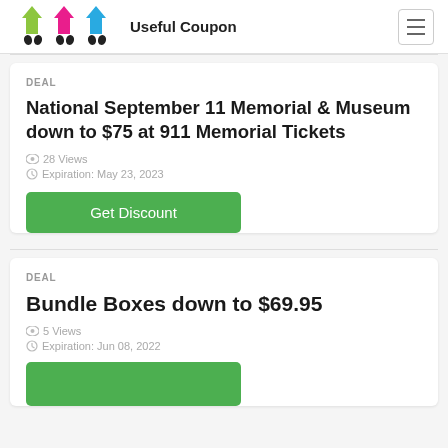Useful Coupon
DEAL
National September 11 Memorial & Museum down to $75 at 911 Memorial Tickets
28 Views
Expiration: May 23, 2023
Get Discount
DEAL
Bundle Boxes down to $69.95
5 Views
Expiration: Jun 08, 2022